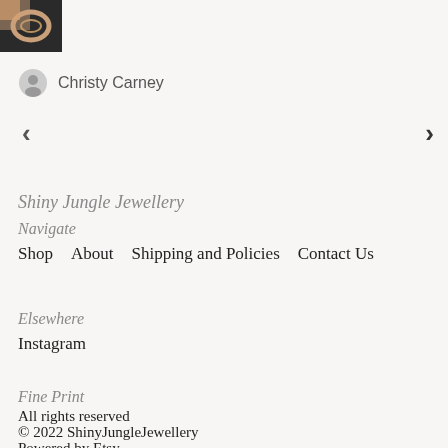[Figure (photo): Small product photo thumbnail showing a ring, dark background]
Christy Carney
< >
Shiny Jungle Jewellery
Navigate
Shop   About   Shipping and Policies   Contact Us
Elsewhere
Instagram
Fine Print
All rights reserved
© 2022 ShinyJungleJewellery
Powered by Etsy